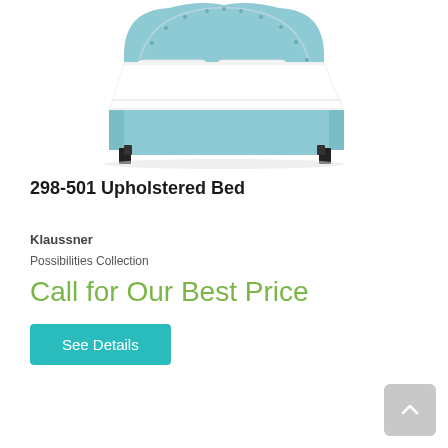[Figure (photo): A light blue upholstered bed with a scalloped headboard with nailhead trim, white bedding, and dark legs, shown on a white background.]
298-501 Upholstered Bed
Klaussner
Possibilities Collection
Call for Our Best Price
See Details